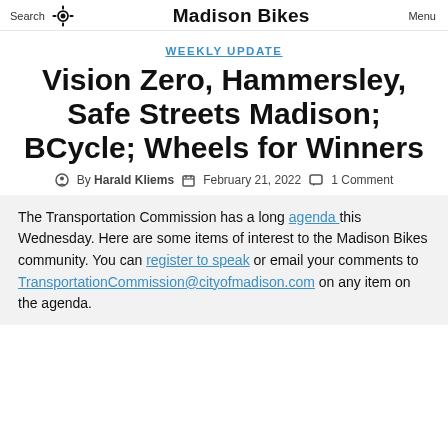Search   Madison Bikes   Menu
WEEKLY UPDATE
Vision Zero, Hammersley, Safe Streets Madison; BCycle; Wheels for Winners
By Harald Kliems   February 21, 2022   1 Comment
The Transportation Commission has a long agenda this Wednesday. Here are some items of interest to the Madison Bikes community. You can register to speak or email your comments to TransportationCommission@cityofmadison.com on any item on the agenda.